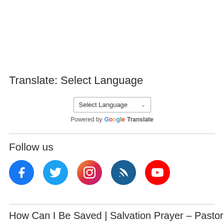Translate: Select Language
[Figure (other): A dropdown select box labeled 'Select Language' with a chevron arrow, and below it 'Powered by Google Translate' text with Google logo colors]
Follow us
[Figure (infographic): Row of five social media icons: Facebook (blue circle), Twitter (light blue circle), Instagram (gradient pink/red circle), RSS (dark blue circle), YouTube (red circle)]
How Can I Be Saved | Salvation Prayer – Pastor